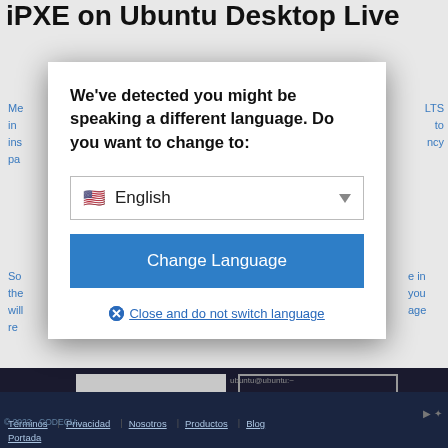iPXE on Ubuntu Desktop Live
Me... LTS in ... to ins... ncy pa...
So... e in the... you will... age re...
[Figure (screenshot): Language detection modal dialog overlay on a webpage. The modal asks 'We've detected you might be speaking a different language. Do you want to change to:' with an English language dropdown selector, a blue 'Change Language' button, and a 'Close and do not switch language' link. Behind the modal are OK and Learn more buttons and a dark footer with navigation links: Términos, Privacidad, Nosotros, Productos, Blog, Portada.]